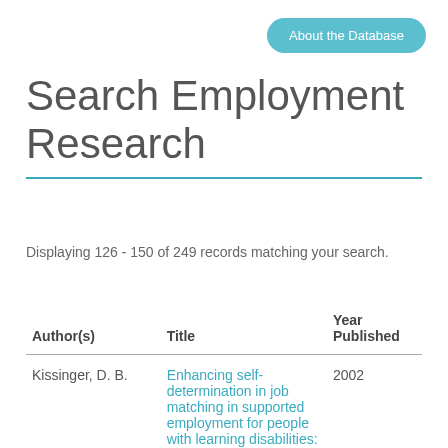About the Database
Search Employment Research
Displaying 126 - 150 of 249 records matching your search.
| Author(s) | Title | Year Published |
| --- | --- | --- |
| Kissinger, D. B. | Enhancing self-determination in job matching in supported employment for people with learning disabilities: An | 2002 |